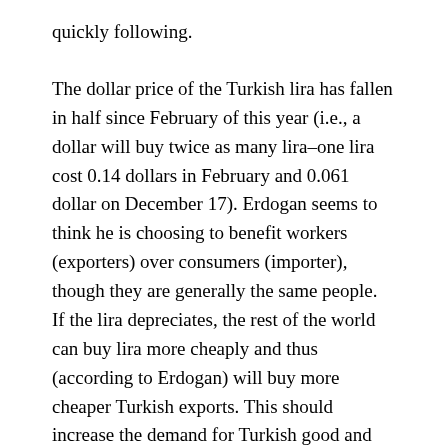quickly following.
The dollar price of the Turkish lira has fallen in half since February of this year (i.e., a dollar will buy twice as many lira–one lira cost 0.14 dollars in February and 0.061 dollar on December 17). Erdogan seems to think he is choosing to benefit workers (exporters) over consumers (importer), though they are generally the same people.  If the lira depreciates, the rest of the world can buy lira more cheaply and thus (according to Erdogan) will buy more cheaper Turkish exports. This should increase the demand for Turkish good and the jobs that produce them and increase the growth of the Turkish economy.